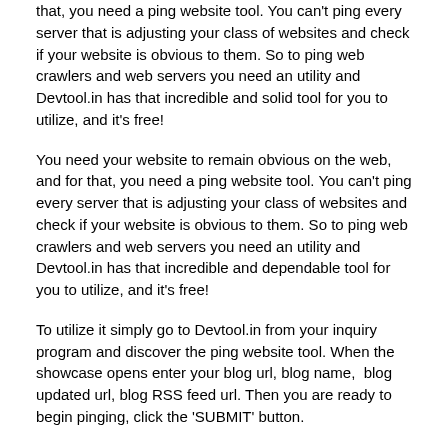that, you need a ping website tool. You can't ping every server that is adjusting your class of websites and check if your website is obvious to them. So to ping web crawlers and web servers you need an utility and Devtool.in has that incredible and solid tool for you to utilize, and it's free!
You need your website to remain obvious on the web, and for that, you need a ping website tool. You can't ping every server that is adjusting your class of websites and check if your website is obvious to them. So to ping web crawlers and web servers you need an utility and Devtool.in has that incredible and dependable tool for you to utilize, and it's free!
To utilize it simply go to Devtool.in from your inquiry program and discover the ping website tool. When the showcase opens enter your blog url, blog name,  blog updated url, blog RSS feed url. Then you are ready to begin pinging, click the 'SUBMIT' button.
Presently simply keep a watch out the utility will begin pinging all the web servers and web crawlers related with your website's classification. Since there are a great many web servers spread the world over, the utility will take two or three minutes to complete. It is pinging your website from different web servers, and if the ping is effective, it will show a message 'a debt of gratitude is in order for the ping! in the outcome box.